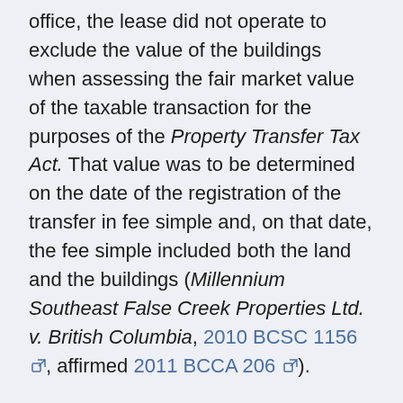office, the lease did not operate to exclude the value of the buildings when assessing the fair market value of the taxable transaction for the purposes of the Property Transfer Tax Act. That value was to be determined on the date of the registration of the transfer in fee simple and, on that date, the fee simple included both the land and the buildings (Millennium Southeast False Creek Properties Ltd. v. British Columbia, 2010 BCSC 1156, affirmed 2011 BCCA 206).
Crown Grants
Notes on Case Law: See Bulletin PTT 018, Application of the Act to Sales of Crown Land, May 2006. It may be